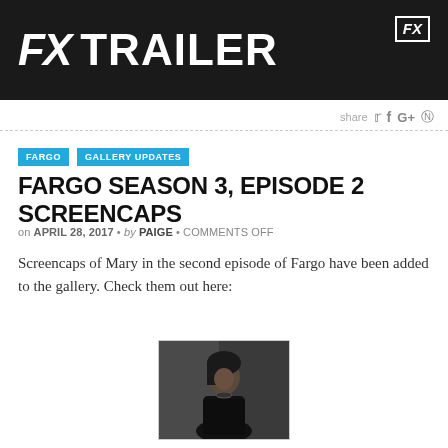[Figure (screenshot): FX TRAILER banner with dark background, large white bold italic FX text followed by TRAILER text, FX logo in top right corner]
share 🐦 f G+ 🅿
FARGO SEASON 3, EPISODE 2 SCREENCAPS
on APRIL 28, 2017 • by PAIGE • COMMENTS OFF
Screencaps of Mary in the second episode of Fargo have been added to the gallery. Check them out here:
[Figure (photo): Small thumbnail image of a woman with dark hair looking upward in a dark scene]